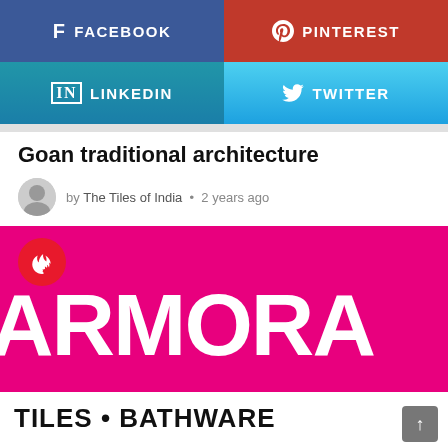[Figure (screenshot): Social share buttons: Facebook (blue), Pinterest (red), LinkedIn (blue gradient), Twitter (light blue)]
Goan traditional architecture
by The Tiles of India • 2 years ago
[Figure (photo): Advertisement banner with magenta/pink background showing partial text 'ARMORA' in large white bold letters, and 'TILES • BATHWARE' at bottom. Red fire badge icon in top-left corner.]